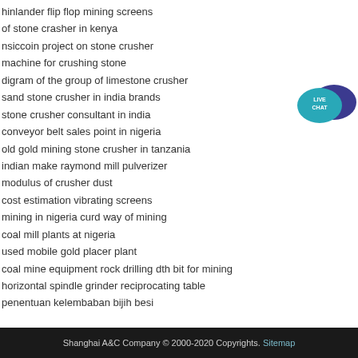hinlander flip flop mining screens
of stone crasher in kenya
nsiccoin project on stone crusher
machine for crushing stone
digram of the group of limestone crusher
sand stone crusher in india brands
stone crusher consultant in india
conveyor belt sales point in nigeria
old gold mining stone crusher in tanzania
indian make raymond mill pulverizer
modulus of crusher dust
cost estimation vibrating screens
mining in nigeria curd way of mining
coal mill plants at nigeria
used mobile gold placer plant
coal mine equipment rock drilling dth bit for mining
horizontal spindle grinder reciprocating table
penentuan kelembaban bijih besi
[Figure (illustration): Live chat button widget with teal speech bubble and dark blue chat icon, text LIVE CHAT in white]
Shanghai A&C Company © 2000-2020 Copyrights. Sitemap